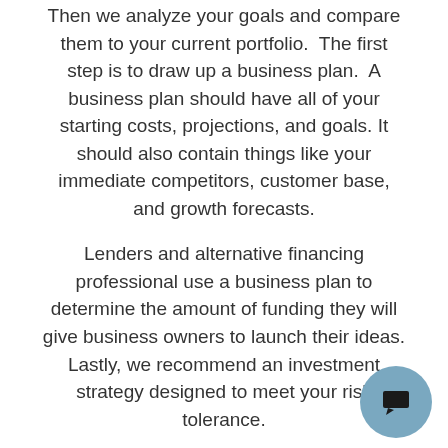Then we analyze your goals and compare them to your current portfolio.  The first step is to draw up a business plan.  A business plan should have all of your starting costs, projections, and goals. It should also contain things like your immediate competitors, customer base, and growth forecasts.
Lenders and alternative financing professional use a business plan to determine the amount of funding they will give business owners to launch their ideas. Lastly, we recommend an investment strategy designed to meet your risk tolerance.
Why Us?
We will be highly equipped with people of dis kinds of finance and business marketing exp We want to provide service to all  highly functioning